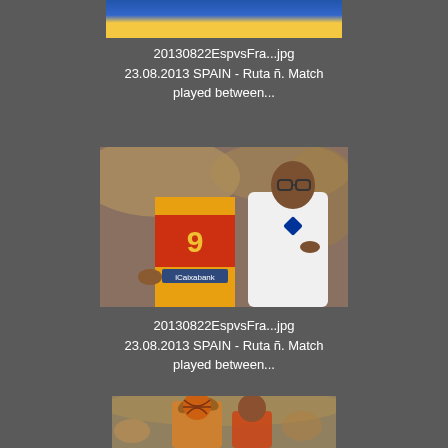[Figure (photo): Cropped top portion of a basketball game photo, partially visible]
20130822EspvsFra...jpg
23.08.2013 SPAIN - Ruta ñ. Match played between...
[Figure (photo): Basketball photo showing a player in red/yellow Spain jersey number 9 (Ricky Rubio) talking with a coach in white shirt wearing glasses, crowd visible in background]
20130822EspvsFra...jpg
23.08.2013 SPAIN - Ruta ñ. Match played between...
[Figure (photo): Cropped bottom photo of basketball players, partially visible at bottom of page]